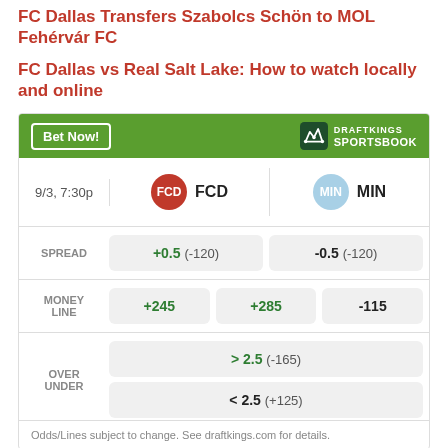FC Dallas Transfers Szabolcs Schön to MOL Fehérvár FC
FC Dallas vs Real Salt Lake: How to watch locally and online
[Figure (infographic): DraftKings Sportsbook betting widget for FCD vs MIN on 9/3 7:30p. Spread: FCD +0.5 (-120), MIN -0.5 (-120). Money Line: FCD +245, Draw +285, MIN -115. Over/Under: >2.5 (-165), <2.5 (+125). Footnote: Odds/Lines subject to change. See draftkings.com for details.]
AD